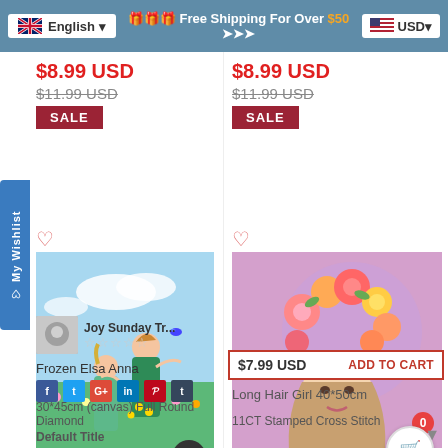English | 🎁🎁🎁 Free Shipping For Over $50 ➤➤➤ | USD
$8.99 USD (left product)
$11.99 USD (left product, strikethrough)
SALE
$8.99 USD (right product)
$11.99 USD (right product, strikethrough)
SALE
[Figure (illustration): Frozen Elsa and Anna characters in colorful outfits outdoors]
[Figure (illustration): Fantasy long hair girl with floral arrangement]
Joy Sunday Tr...
Stars rating (empty)
Frozen Elsa Anna
30*45cm (canvas) Full Round Diamond
$7.99 USD | ADD TO CART
Long Hair Girl 40*50cm
11CT Stamped Cross Stitch
Default Title